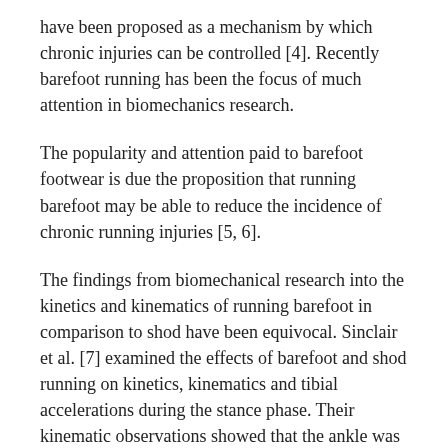have been proposed as a mechanism by which chronic injuries can be controlled [4]. Recently barefoot running has been the focus of much attention in biomechanics research.
The popularity and attention paid to barefoot footwear is due the proposition that running barefoot may be able to reduce the incidence of chronic running injuries [5, 6].
The findings from biomechanical research into the kinetics and kinematics of running barefoot in comparison to shod have been equivocal. Sinclair et al. [7] examined the effects of barefoot and shod running on kinetics, kinematics and tibial accelerations during the stance phase. Their kinematic observations showed that the ankle was significantly more plantarflexed at footstrike in the barefoot